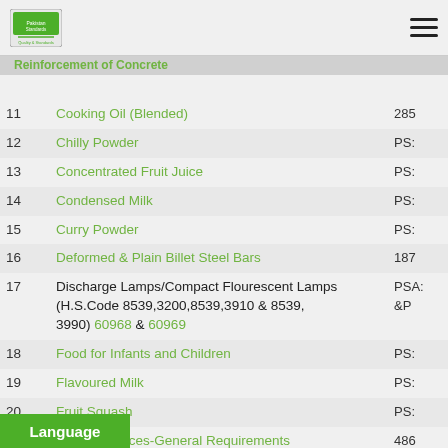Pakistan Standards - Quality Work & Steel Deformed Bars for the Reinforcement of Concrete
11  Cooking Oil (Blended)  285
12  Chilly Powder  PS:
13  Concentrated Fruit Juice  PS:
14  Condensed Milk  PS:
15  Curry Powder  PS:
16  Deformed & Plain Billet Steel Bars  187
17  Discharge Lamps/Compact Flourescent Lamps (H.S.Code 8539,3200,8539,3910 & 8539, 3990) 60968 & 60969  PSA: &P
18  Food for Infants and Children  PS:
19  Flavoured Milk  PS:
20  Fruit Squash  PS:
21  Gas Appliances-General Requirements  486
22  Gas Applied fired Room Heater-Vented  485
23  Gas Cooking Range  485
24  Gas Cooking Stoves  156